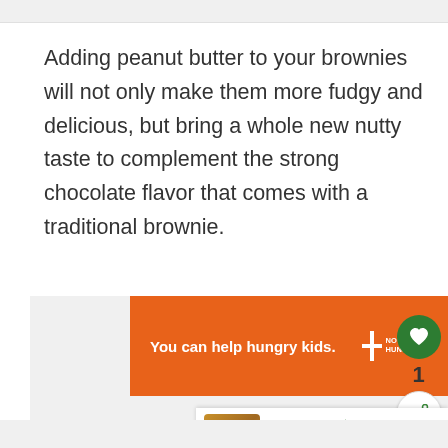Adding peanut butter to your brownies will not only make them more fudgy and delicious, but bring a whole new nutty taste to complement the strong chocolate flavor that comes with a traditional brownie.
[Figure (screenshot): Orange advertisement banner for No Kid Hungry: 'You can help hungry kids.' with LEARN HOW button, and a close (X) button in top right corner.]
[Figure (infographic): Green circular heart/favorite button, number '1', and a green share button on the right side of the page.]
[Figure (infographic): WHAT'S NEXT arrow label with thumbnail image and text 'The Best Substitutes...' at bottom right corner.]